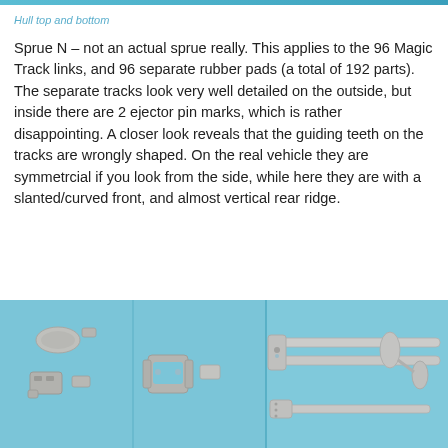Hull top and bottom
Sprue N – not an actual sprue really. This applies to the 96 Magic Track links, and 96 separate rubber pads (a total of 192 parts). The separate tracks look very well detailed on the outside, but inside there are 2 ejector pin marks, which is rather disappointing. A closer look reveals that the guiding teeth on the tracks are wrongly shaped. On the real vehicle they are symmetrcial if you look from the side, while here they are with a slanted/curved front, and almost vertical rear ridge.
[Figure (photo): Three side-by-side photos showing plastic model kit parts on a blue background. Left panel shows small grey plastic track link components scattered. Middle panel shows assembled track link parts with rubber pads. Right panel shows longer grey plastic rod/barrel components.]